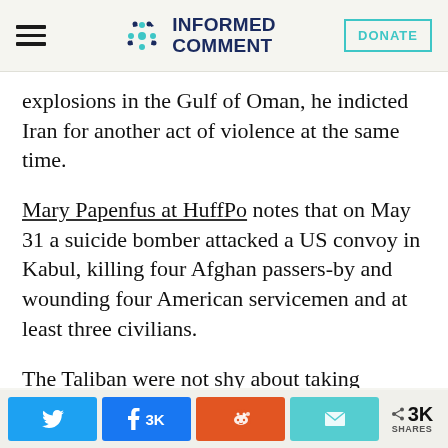Informed Comment | DONATE
explosions in the Gulf of Oman, he indicted Iran for another act of violence at the same time.
Mary Papenfus at HuffPo notes that on May 31 a suicide bomber attacked a US convoy in Kabul, killing four Afghan passers-by and wounding four American servicemen and at least three civilians.
The Taliban were not shy about taking responsibility, their spokesman, Zabiullah
Twitter | Facebook 3K | Reddit | Email | < 3K SHARES